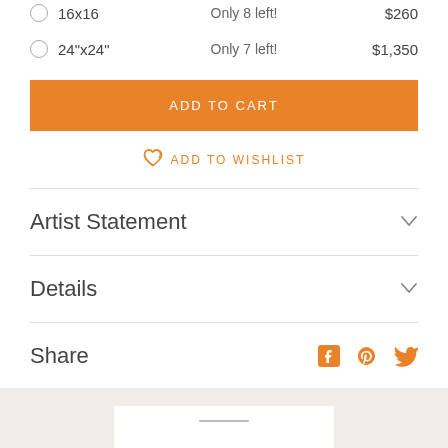16x16   Only 8 left!   $260
24"x24"   Only 7 left!   $1,350
ADD TO CART
ADD TO WISHLIST
Artist Statement
Details
Share